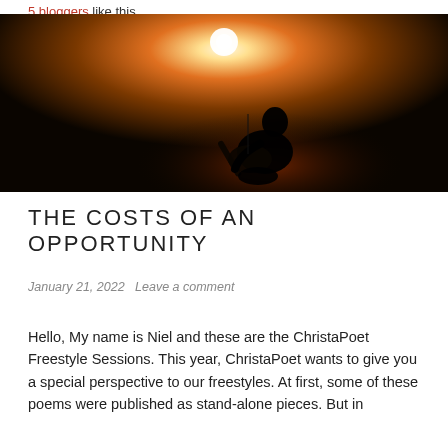5 bloggers like this.
[Figure (photo): A silhouetted musician playing guitar on a dark stage with a bright warm spotlight behind them, creating a dramatic orange-toned atmosphere.]
THE COSTS OF AN OPPORTUNITY
January 21, 2022   Leave a comment
Hello, My name is Niel and these are the ChristaPoet Freestyle Sessions. This year, ChristaPoet wants to give you a special perspective to our freestyles. At first, some of these poems were published as stand-alone pieces. But in